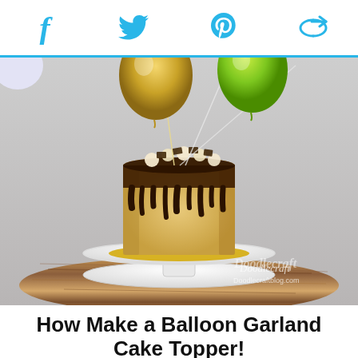Social share icons: Facebook, Twitter, Pinterest, Copy/Share
[Figure (photo): A chocolate drip cake with peanut butter frosting on a white cake stand on a wooden board, decorated with balloon garland toppers (gold and lime green balloons on sticks) in the background. Watermark reads 'DoodleCraft Doodlecraftblog.com']
How Make a Balloon Garland Cake Topper!